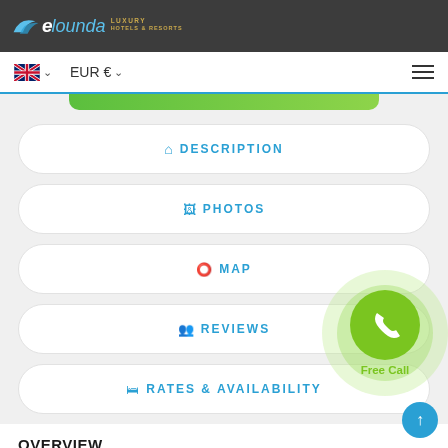elounda LUXURY HOTELS & RESORTS
EUR € ▾
🏠 DESCRIPTION
🖼 PHOTOS
📍 MAP
👥 REVIEWS
🛏 RATES & AVAILABILITY
OVERVIEW
[Figure (other): Free Call button - green circular phone icon with outer light green halo and 'Free Call' label below]